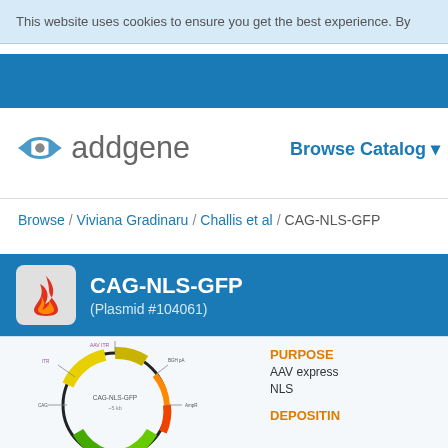This website uses cookies to ensure you get the best experience. By
[Figure (logo): Addgene logo with eye icon and text 'addgene']
Browse Catalog ▾
Browse / Viviana Gradinaru / Challis et al / CAG-NLS-GFP
CAG-NLS-GFP (Plasmid #104061)
[Figure (illustration): Circular plasmid map diagram for CAG-NLS-GFP]
PURPOSE
AAV express NLS
DEPOSITIN